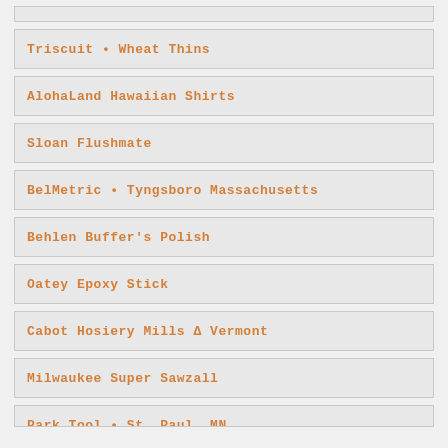Triscuit • Wheat Thins
AlohaLand Hawaiian Shirts
Sloan Flushmate
BelMetric • Tyngsboro Massachusetts
Behlen Buffer's Polish
Oatey Epoxy Stick
Cabot Hosiery Mills Δ Vermont
Milwaukee Super Sawzall
Park Tool • St. Paul, MN